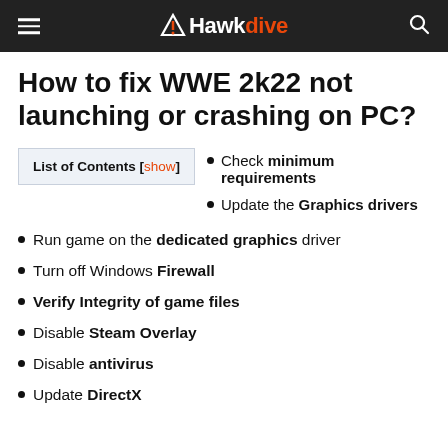Hawkdive
How to fix WWE 2k22 not launching or crashing on PC?
Check minimum requirements
Update the Graphics drivers
Run game on the dedicated graphics driver
Turn off Windows Firewall
Verify Integrity of game files
Disable Steam Overlay
Disable antivirus
Update DirectX